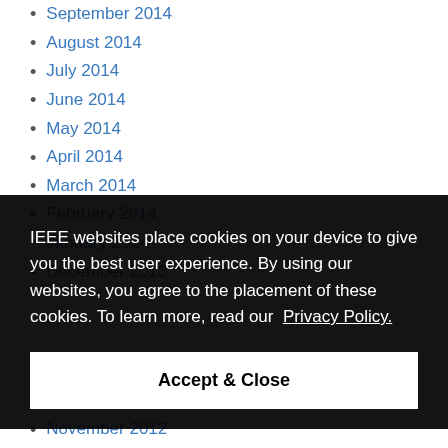September 2014
August 2014
July 2014
June 2014
May 2014
April 2014
March 2014
February 2014
January 2014
December 2013
IEEE websites place cookies on your device to give you the best user experience. By using our websites, you agree to the placement of these cookies. To learn more, read our Privacy Policy.
Accept & Close
November 2012